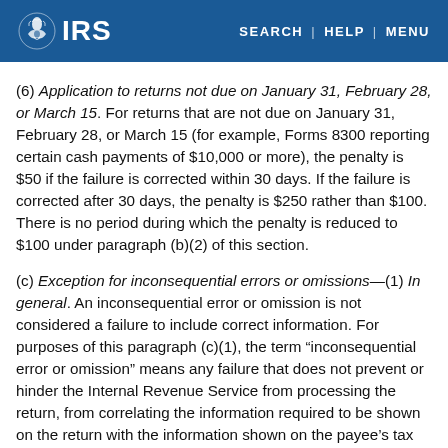IRS | SEARCH | HELP | MENU
(6) Application to returns not due on January 31, February 28, or March 15. For returns that are not due on January 31, February 28, or March 15 (for example, Forms 8300 reporting certain cash payments of $10,000 or more), the penalty is $50 if the failure is corrected within 30 days. If the failure is corrected after 30 days, the penalty is $250 rather than $100. There is no period during which the penalty is reduced to $100 under paragraph (b)(2) of this section.
(c) Exception for inconsequential errors or omissions—(1) In general. An inconsequential error or omission is not considered a failure to include correct information. For purposes of this paragraph (c)(1), the term “inconsequential error or omission” means any failure that does not prevent or hinder the Internal Revenue Service from processing the return, from correlating the information required to be shown on the return with the information shown on the payee’s tax return, or from otherwise putting the return to its intended use. See